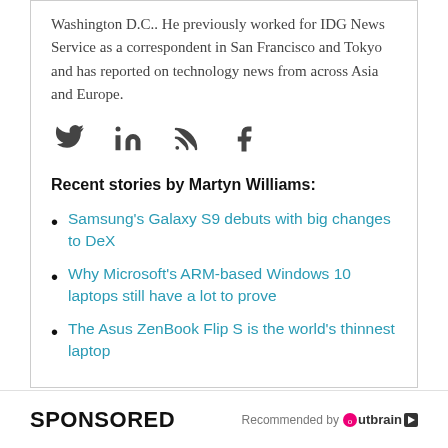Washington D.C.. He previously worked for IDG News Service as a correspondent in San Francisco and Tokyo and has reported on technology news from across Asia and Europe.
[Figure (other): Social media icons: Twitter, LinkedIn, RSS, Facebook]
Recent stories by Martyn Williams:
Samsung's Galaxy S9 debuts with big changes to DeX
Why Microsoft's ARM-based Windows 10 laptops still have a lot to prove
The Asus ZenBook Flip S is the world's thinnest laptop
SPONSORED   Recommended by Outbrain